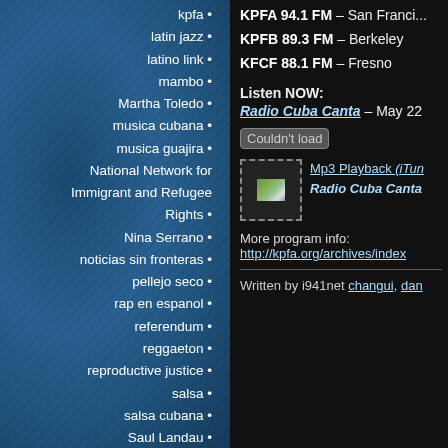kpfa
latin jazz
latino link
mambo
Martha Toledo
musica cubana
musica guajira
National Network for Immigrant and Refugee Rights
Nina Serrano
noticias sin fronteras
pellejo seco
rap en espanol
referendum
reggaeton
reproductive justice
salsa
salsa cubana
Saul Landau
sex education
sistema bomb
son
son jarocho
son montuno
KPFA 94.1 FM – San Francisco
KPFB 89.3 FM – Berkeley
KFCF 88.1 FM – Fresno
Listen NOW:
Radio Cuba Canta – May 22
Couldn't load
[Figure (photo): Small thumbnail image with dashed border]
Mp3 Playback (iTunes) Radio Cuba Canta
More program info:
http://kpfa.org/archives/index
Written by i941net changui, dan